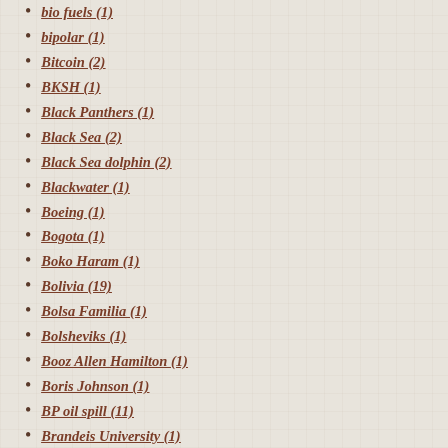bio fuels (1)
bipolar (1)
Bitcoin (2)
BKSH (1)
Black Panthers (1)
Black Sea (2)
Black Sea dolphin (2)
Blackwater (1)
Boeing (1)
Bogota (1)
Boko Haram (1)
Bolivia (19)
Bolsa Familia (1)
Bolsheviks (1)
Booz Allen Hamilton (1)
Boris Johnson (1)
BP oil spill (11)
Brandeis University (1)
Brasiguayos (3)
Brasilia (1)
Brazil (65)
Brazil environment (4)
Brazilian election 2010 (2)
Brexit (3)
BRICS (1)
Brighton Beach (1)